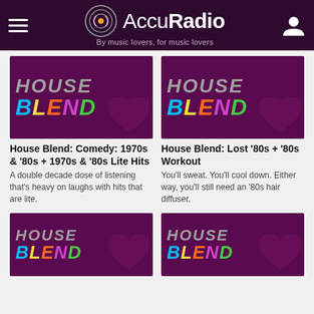[Figure (logo): AccuRadio logo with tagline 'By music lovers, for music lovers' on dark purple header bar]
[Figure (illustration): House Blend channel artwork: colorful BLEND text on dark purple background]
House Blend: Comedy: 1970s & '80s + 1970s & '80s Lite Hits
A double decade dose of listening that's heavy on laughs with hits that are lite.
[Figure (illustration): House Blend channel artwork: colorful BLEND text on dark purple background]
House Blend: Lost '80s + '80s Workout
You'll sweat. You'll cool down. Either way, you'll still need an '80s hair diffuser.
[Figure (illustration): House Blend channel artwork partial: colorful BLEND text on dark purple background (bottom, cropped)]
[Figure (illustration): House Blend channel artwork partial: colorful BLEND text on dark purple background (bottom, cropped)]